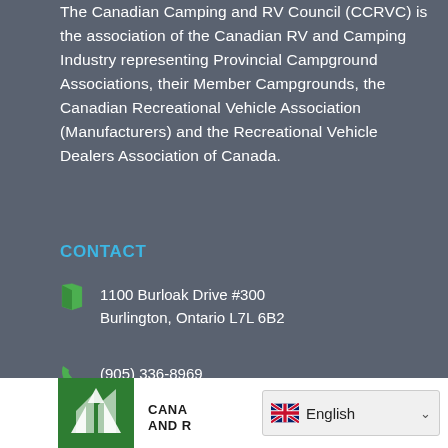The Canadian Camping and RV Council (CCRVC) is the association of the Canadian RV and Camping Industry representing Provincial Campground Associations, their Member Campgrounds, the Canadian Recreational Vehicle Association (Manufacturers) and the Recreational Vehicle Dealers Association of Canada.
CONTACT
1100 Burloak Drive #300
Burlington, Ontario L7L 6B2
(905) 336-8969
info@ccrvc.ca
[Figure (logo): Canadian Camping and RV Council logo - green square with white tent/mountain icons]